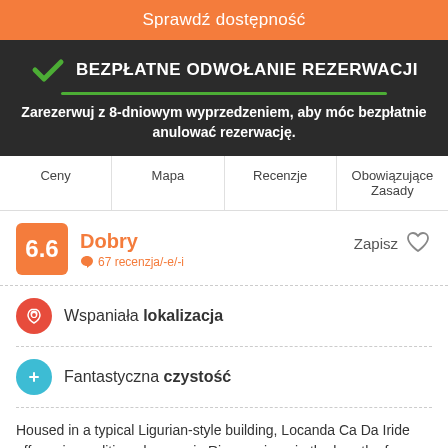Sprawdź dostępność
BEZPŁATNE ODWOŁANIE REZERWACJI
Zarezerwuj z 8-dniowym wyprzedzeniem, aby móc bezpłatnie anulować rezerwację.
Ceny
Mapa
Recenzje
Obowiązujące Zasady
6.6 Dobry — 67 recenzja/-e/-i
Zapisz
Wspaniała lokalizacja
Fantastyczna czystość
Housed in a typical Ligurian-style building, Locanda Ca Da Iride offers air-conditioned rooms in Riomaggiore, in the hearth of Cinque Terre. Free WiFi is available in public areas.